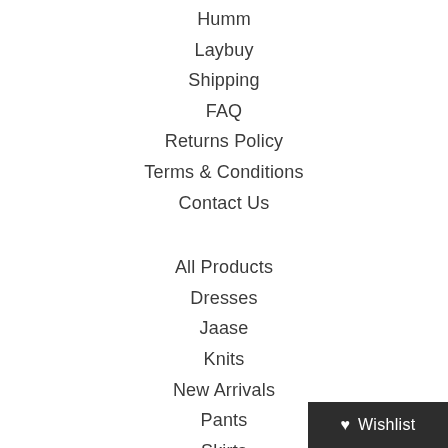Humm
Laybuy
Shipping
FAQ
Returns Policy
Terms & Conditions
Contact Us
All Products
Dresses
Jaase
Knits
New Arrivals
Pants
Skirts
Tops
Wishlist